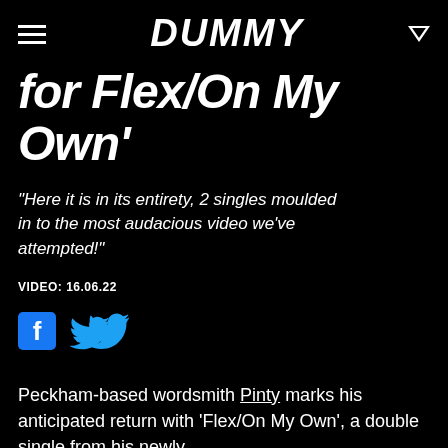DUMMY
for Flex/On My Own'
"Here it is in its entirety, 2 singles moulded in to the most audacious video we've attempted!"
VIDEO: 16.06.22
[Figure (other): Facebook and Twitter social share icons]
Peckham-based wordsmith Pinty marks his anticipated return with 'Flex/On My Own', a double single from his newly